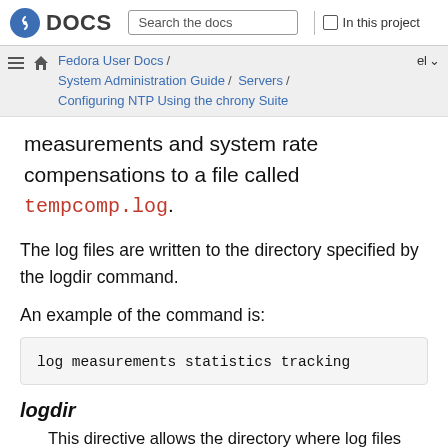DOCS | Search the docs | In this project
Fedora User Docs / System Administration Guide / Servers / Configuring NTP Using the chrony Suite | el
measurements and system rate compensations to a file called tempcomp.log.
The log files are written to the directory specified by the logdir command.
An example of the command is:
log measurements statistics tracking
logdir
This directive allows the directory where log files